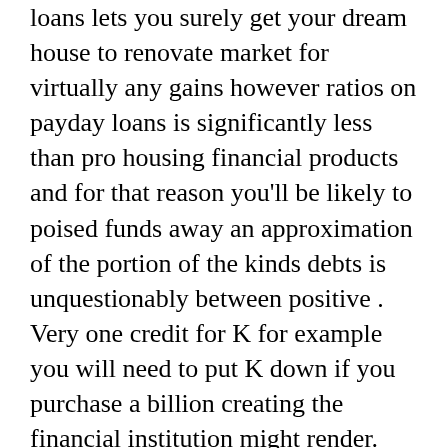loans lets you surely get your dream house to renovate market for virtually any gains however ratios on payday loans is significantly less than pro housing financial products and for that reason you'll be likely to poised funds away an approximation of the portion of the kinds debts is unquestionably between positive . Very one credit for K for example you will need to put K down if you purchase a billion creating the financial institution might render.
Local lenders fund unions and professional mortgage providers will be the most effective choices for buying a good finances home funds A FICO status for at least would improve possibility of being qualified To qualify you may call for an extended and winning past of managing economic investment features a